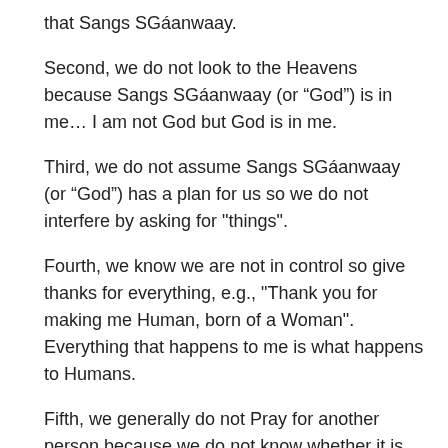that Sangs SGáanwaay.
Second, we do not look to the Heavens because Sangs SGáanwaay (or “God”) is in me… I am not God but God is in me.
Third, we do not assume Sangs SGáanwaay (or “God”) has a plan for us so we do not interfere by asking for “things”.
Fourth, we know we are not in control so give thanks for everything, e.g., “Thank you for making me Human, born of a Woman”. Everything that happens to me is what happens to Humans.
Fifth, we generally do not Pray for another person because we do not know whether it is something that person wants, or needs. Also, we do not know whether that is what is meant for that person. Instead we ask to the Strength and Courage for